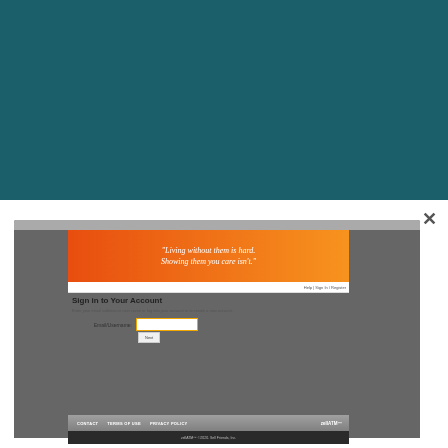[Figure (screenshot): Teal/dark blue background occupying the upper portion of the page, representing a web browser modal overlay background]
×
[Figure (screenshot): Website screenshot showing an orange gradient banner with italic text 'Living without them is hard. Showing them you care isn't.' followed by a Sign In form with Email/Username field and Next button, and footer with CONTACT, TERMS OF USE, PRIVACY POLICY, and zellATM™ links]
"Living without them is hard. Showing them you care isn't."
Sign in to Your Account
Enter your email address or user name to log into your account or to create a new account.
Email/Username:
CONTACT   TERMS OF USE   PRIVACY POLICY   zellATM™
zellATM™ ©2020. Sell Friends, Inc.